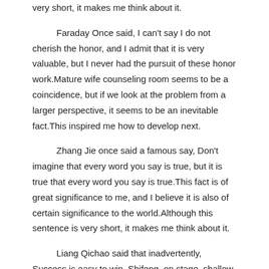very short, it makes me think about it.
Faraday Once said, I can't say I do not cherish the honor, and I admit that it is very valuable, but I never had the pursuit of these honor work.Mature wife counseling room seems to be a coincidence, but if we look at the problem from a larger perspective, it seems to be an inevitable fact.This inspired me how to develop next.
Zhang Jie once said a famous say, Don't imagine that every word you say is true, but it is true that every word you say is true.This fact is of great significance to me, and I believe it is also of certain significance to the world.Although this sentence is very short, it makes me think about it.
Liang Qichao said that inadvertently, Success is easy to win, Shifeng, on stage, shallow and deep knowledge of